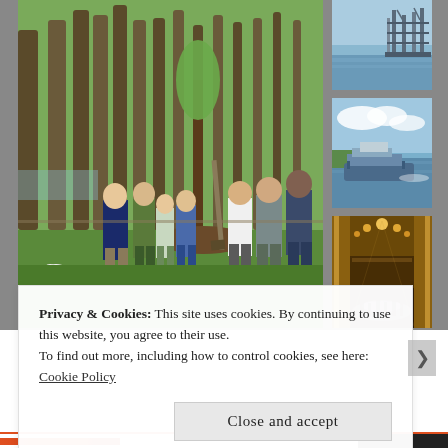[Figure (photo): A collage of four photos: (left) a group of people standing outdoors in a park near a freshly planted tree with a dog sitting in the foreground; (top right) oil rigs or industrial structures on water; (middle right) a boat or ferry on a river or waterway; (bottom right) the interior of a large ornate hall or arcade with golden lighting and people walking.]
Privacy & Cookies: This site uses cookies. By continuing to use this website, you agree to their use.
To find out more, including how to control cookies, see here:
Cookie Policy
Close and accept